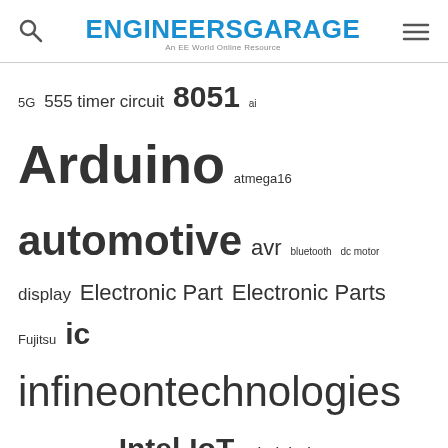ENGINEERS GARAGE - An EE World Online Resource
5G 555 timer circuit 8051 ai Arduino atmega16 automotive avr bluetooth dc motor display Electronic Part Electronic Parts Fujitsu ic infineontechnologies integratedcircuit Intel IoT ir lcd led maximintegratedproducts microchip microchiptechnology Microchip Technology microcontroller microcontrollers mosfet motor powermanagement Raspberry Pi remote renesaselectronics renesaselectronicscorporation Research samsung semiconductor sensor software